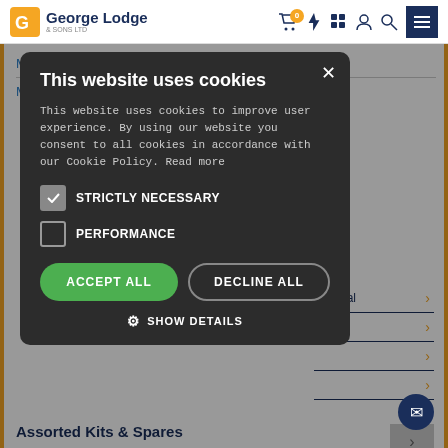George Lodge — navigation header with cart, lightning, calculator, user, search, menu icons
Maintenance Free Chain 08B2 Duplex + Spares
Modular/Slat
[Figure (screenshot): Cookie consent modal dialog with dark background showing title 'This website uses cookies', body text, checkboxes for STRICTLY NECESSARY (checked) and PERFORMANCE (unchecked), ACCEPT ALL and DECLINE ALL buttons, and SHOW DETAILS link]
Assorted Kits & Spares